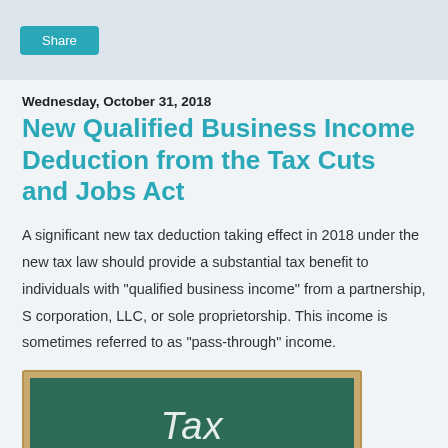Share
Wednesday, October 31, 2018
New Qualified Business Income Deduction from the Tax Cuts and Jobs Act
A significant new tax deduction taking effect in 2018 under the new tax law should provide a substantial tax benefit to individuals with "qualified business income" from a partnership, S corporation, LLC, or sole proprietorship. This income is sometimes referred to as "pass-through" income.
[Figure (photo): A chalkboard with wooden frame showing the words 'Tax Deductions' written in chalk]